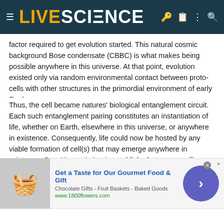LIVESCIENCE
factor required to get evolution started. This natural cosmic background Bose condensate (CBBC) is what makes being possible anywhere in this universe. At that point, evolution existed only via random environmental contact between proto-cells with other structures in the primordial environment of early Earth.
Thus, the cell became natures' biological entanglement circuit. Each such entanglement pairing constitutes an instantiation of life, whether on Earth, elsewhere in this universe, or anywhere in existence. Consequently, life could now be hosted by any viable formation of cell(s) that may emerge anywhere in existence. Ones' instantiation is established at one specific QEF, a unique value of the degrees of freedom among the infinity of possible values on the quantum entanglement spectrum. A QEF that is unique in all existence to each individual and to no other, but only while that QE
[Figure (other): Advertisement banner: Get a Taste for Our Gourmet Food & Gift - Chocolate Gifts - Fruit Baskets - Baked Goods - www.1800flowers.com]